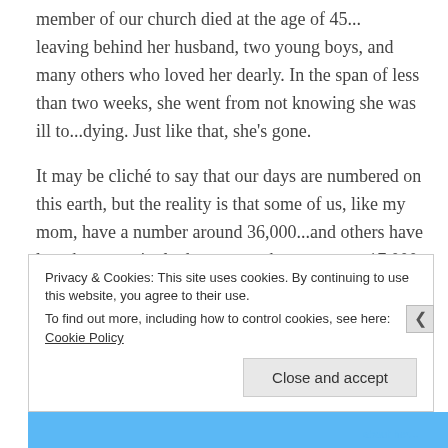member of our church died at the age of 45... leaving behind her husband, two young boys, and many others who loved her dearly. In the span of less than two weeks, she went from not knowing she was ill to...dying. Just like that, she's gone.
It may be cliché to say that our days are numbered on this earth, but the reality is that some of us, like my mom, have a number around 36,000...and others have less than one single day...or maybe more near 17,000, as our church friend had. And that may seem like a big
Privacy & Cookies: This site uses cookies. By continuing to use this website, you agree to their use.
To find out more, including how to control cookies, see here: Cookie Policy
Close and accept